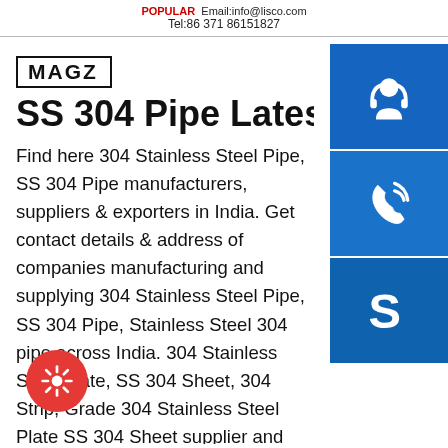Tel:86 371 86151827
MAGZ
SS 304 Pipe Latest Price
Find here 304 Stainless Steel Pipe, SS 304 Pipe manufacturers, suppliers & exporters in India. Get contact details & address of companies manufacturing and supplying 304 Stainless Steel Pipe, SS 304 Pipe, Stainless Steel 304 pipe across India. 304 Stainless Steel Plate, SS 304 Sheet, 304 Strip, Grade 304 Stainless Steel Plate SS 304 Sheet supplier and Jindal 304 Plate stockist in Mumbai. Classified under Austenite steel, 304 Stainless Steel Pipe is non-magnetic and offers good corrosion-resistance to both chemical and atmospheric
[Figure (illustration): Blue customer support icon (headset with person silhouette)]
[Figure (illustration): Blue phone/call icon]
[Figure (illustration): Blue Skype icon]
[Figure (illustration): Red circular floating action button with gear/settings icon]